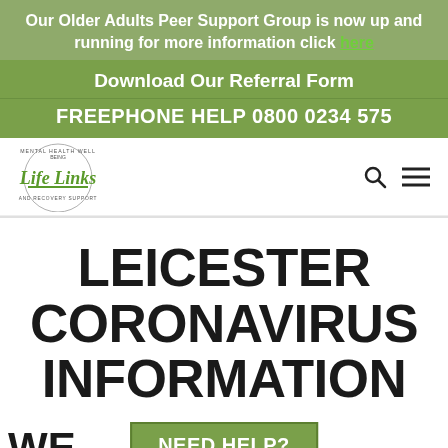Our Older Adults Peer Support Group is now up and running for more information click here
Download Our Referral Form
FREEPHONE HELP 0800 0234 575
[Figure (logo): Life Links Mental Health Wellbeing and Recovery Support circular logo with green script text]
LEICESTER CORONAVIRUS INFORMATION
WE'VE COMPILED...
NEED HELP?